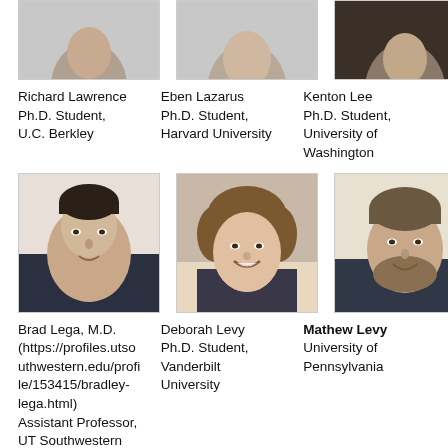[Figure (photo): Partially visible headshot photo of Richard Lawrence, cropped at top]
[Figure (photo): Partially visible headshot photo of Eben Lazarus, cropped at top]
[Figure (photo): Partially visible headshot photo of Kenton Lee, dark background]
Richard Lawrence
Ph.D. Student,
U.C. Berkley
Eben Lazarus
Ph.D. Student,
Harvard University
Kenton Lee
Ph.D. Student,
University of
Washington
[Figure (photo): Headshot photo of Brad Lega, male, dark hair, slight smile, wearing dark shirt]
[Figure (photo): Headshot photo of Deborah Levy, female, curly hair, smiling, patterned top]
[Figure (photo): Headshot photo of Mathew Levy, male, beard, smiling, dark sweater]
Brad Lega, M.D.
(https://profiles.utsouthwestern.edu/profile/153415/bradley-lega.html)
Assistant Professor,
UT Southwestern
Deborah Levy
Ph.D. Student,
Vanderbilt
University
Mathew Levy
University of
Pennsylvania